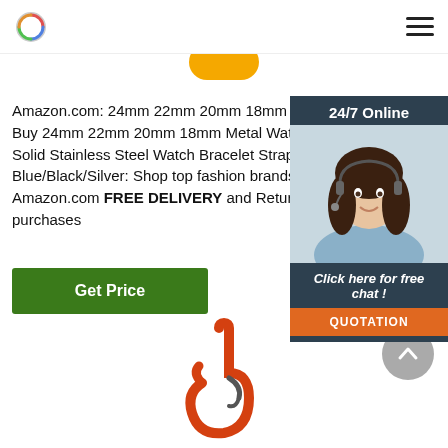Navigation bar with logo and hamburger menu
[Figure (illustration): Partial gold/yellow circle visible at top center]
Amazon.com: 24mm 22mm 20mm 18mm Metal B... Buy 24mm 22mm 20mm 18mm Metal Watch Band Solid Stainless Steel Watch Bracelet Straps for M... Blue/Black/Silver: Shop top fashion brands Watch... Amazon.com FREE DELIVERY and Returns possib... purchases
[Figure (photo): Chat widget with woman wearing headset, 24/7 Online header, Click here for free chat text, and QUOTATION button]
Get Price
[Figure (photo): Orange crane hook illustration at bottom center]
[Figure (illustration): Grey circular back-to-top arrow button at bottom right]